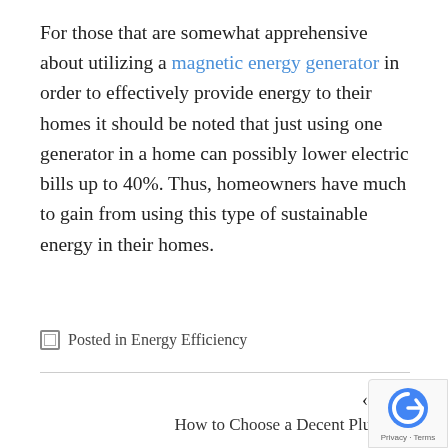For those that are somewhat apprehensive about utilizing a magnetic energy generator in order to effectively provide energy to their homes it should be noted that just using one generator in a home can possibly lower electric bills up to 40%. Thus, homeowners have much to gain from using this type of sustainable energy in their homes.
Posted in Energy Efficiency
‹ Prev
How to Choose a Decent Plumb…